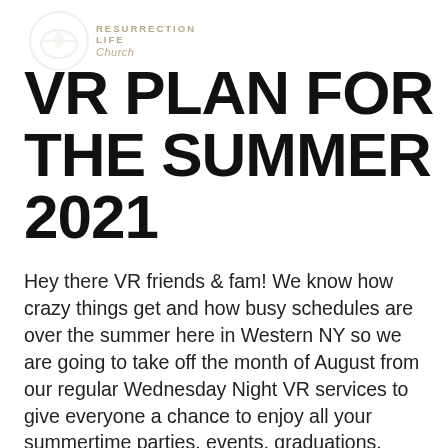[Figure (logo): Resurrection Life Church logo — circular emblem with text 'RESURRECTION LIFE Church' in tan/beige color]
VR PLAN FOR THE SUMMER 2021
Hey there VR friends & fam! We know how crazy things get and how busy schedules are over the summer here in Western NY so we are going to take off the month of August from our regular Wednesday Night VR services to give everyone a chance to enjoy all your summertime parties, events, graduations, vacations etc..
Our last official VR service will take place on Wednesday July 28th. Even though we won't be meeting in a regular after summer results